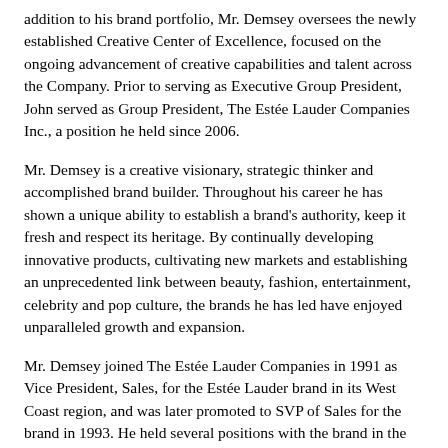addition to his brand portfolio, Mr. Demsey oversees the newly established Creative Center of Excellence, focused on the ongoing advancement of creative capabilities and talent across the Company. Prior to serving as Executive Group President, John served as Group President, The Estée Lauder Companies Inc., a position he held since 2006.
Mr. Demsey is a creative visionary, strategic thinker and accomplished brand builder. Throughout his career he has shown a unique ability to establish a brand's authority, keep it fresh and respect its heritage. By continually developing innovative products, cultivating new markets and establishing an unprecedented link between beauty, fashion, entertainment, celebrity and pop culture, the brands he has led have enjoyed unparalleled growth and expansion.
Mr. Demsey joined The Estée Lauder Companies in 1991 as Vice President, Sales, for the Estée Lauder brand in its West Coast region, and was later promoted to SVP of Sales for the brand in 1993. He held several positions with the brand in the New York headquarters and in the field, and was instrumental in expanding its business and increasing market share.
In 1998, Mr. Demsey was appointed President of M•A•C. Mr. Demsey built the small, niche makeup artist brand into a global powerhouse, and was Director, the model from 18 artists to